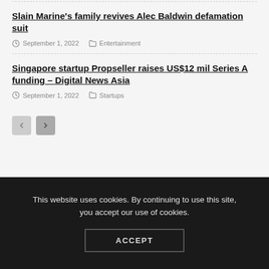Slain Marine's family revives Alec Baldwin defamation suit
September 1, 2022   Entertainment
Singapore startup Propseller raises US$12 mil Series A funding – Digital News Asia
September 1, 2022   Startups
This website uses cookies. By continuing to use this site, you accept our use of cookies.
ACCEPT